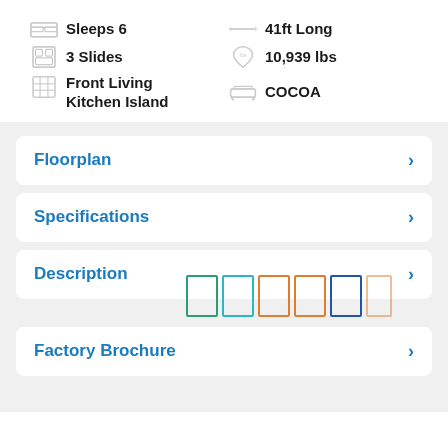Sleeps 6
41ft Long
3 Slides
10,939 lbs
Front Living Kitchen Island
COCOA
Floorplan
Specifications
Description
Factory Brochure